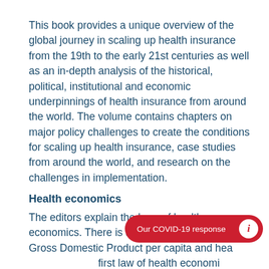This book provides a unique overview of the global journey in scaling up health insurance from the 19th to the early 21st centuries as well as an in-depth analysis of the historical, political, institutional and economic underpinnings of health insurance from around the world. The volume contains chapters on major policy challenges to create the conditions for scaling up health insurance, case studies from around the world, and research on the challenges in implementation.
Health economics
The editors explain the laws of health economics. There is a tight relation between Gross Domestic Product per capita and hea… first law of health economi… influx of donor money into the public health sector in